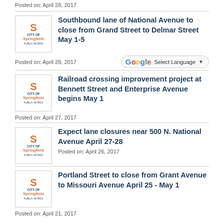Posted on: April 28, 2017
Southbound lane of National Avenue to close from Grand Street to Delmar Street May 1-5
Posted on: April 28, 2017
Railroad crossing improvement project at Bennett Street and Enterprise Avenue begins May 1
Posted on: April 27, 2017
Expect lane closures near 500 N. National Avenue April 27-28
Posted on: April 26, 2017
Portland Street to close from Grant Avenue to Missouri Avenue April 25 - May 1
Posted on: April 21, 2017